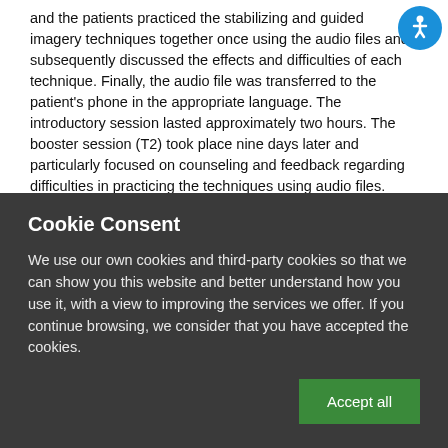and the patients practiced the stabilizing and guided imagery techniques together once using the audio files and subsequently discussed the effects and difficulties of each technique. Finally, the audio file was transferred to the patient's phone in the appropriate language. The introductory session lasted approximately two hours. The booster session (T2) took place nine days later and particularly focused on counseling and feedback regarding difficulties in practicing the techniques using audio files. Since the focus of this study was put on the self-practice of stabilizing and guided imagery techniques using the provided audio files, no further guided practice sessions were undertaken. An interview was
[Figure (other): Accessibility icon — circular blue button with white wheelchair/person symbol]
Cookie Consent
We use our own cookies and third-party cookies so that we can show you this website and better understand how you use it, with a view to improving the services we offer. If you continue browsing, we consider that you have accepted the cookies.